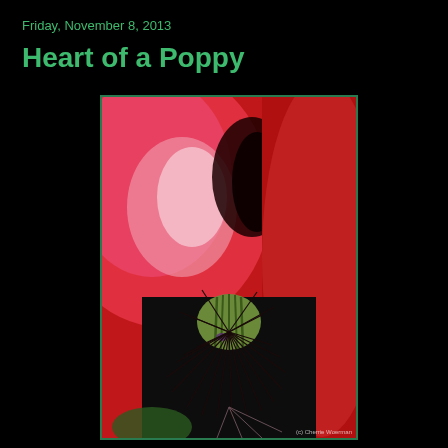Friday, November 8, 2013
Heart of a Poppy
[Figure (photo): Close-up macro photograph of the center of a red poppy flower, showing the green seed pod/pistil surrounded by dark stamens and stamen filaments, against vivid red petals. A watermark reading '(c) Cherrie Woerman' appears in the lower right corner.]